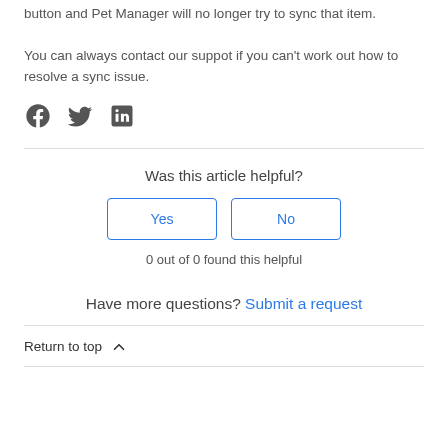button and Pet Manager will no longer try to sync that item.
You can always contact our suppot if you can't work out how to resolve a sync issue.
[Figure (other): Social media share icons: Facebook, Twitter, LinkedIn]
Was this article helpful?
Yes | No buttons
0 out of 0 found this helpful
Have more questions? Submit a request
Return to top